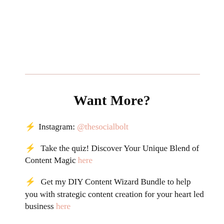Want More?
⚡ Instagram: @thesocialbolt
⚡ Take the quiz! Discover Your Unique Blend of Content Magic here
⚡ Get my DIY Content Wizard Bundle to help you with strategic content creation for your heart led business here